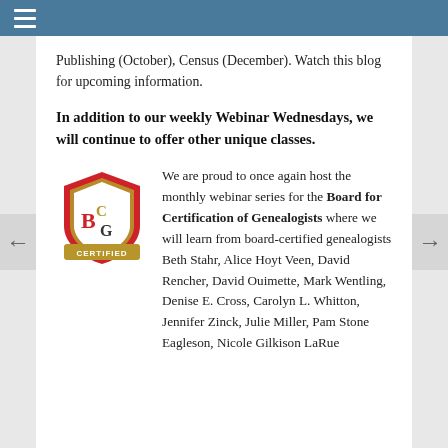≡
Publishing (October), Census (December). Watch this blog for upcoming information.
In addition to our weekly Webinar Wednesdays, we will continue to offer other unique classes.
[Figure (logo): BCG (Board for Certification of Genealogists) shield logo with red and gold colors and 'CERTIFIED' banner]
We are proud to once again host the monthly webinar series for the Board for Certification of Genealogists where we will learn from board-certified genealogists Beth Stahr, Alice Hoyt Veen, David Rencher, David Ouimette, Mark Wentling, Denise E. Cross, Carolyn L. Whitton, Jennifer Zinck, Julie Miller, Pam Stone Eagleson, Nicole Gilkison LaRue and others. Click here for the